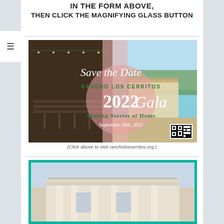IN THE FORM ABOVE,
THEN CLICK THE MAGNIFYING GLASS BUTTON
[Figure (illustration): Save the Date flyer for Rancho Los Cerritos 2022 Gala, Sharing Stories of Home, September 24th 2022. Shows event venue photos with script and serif typography, pink circle design element, green text accents, and a QR code.]
(Click above to visit rancholoscerritos.org.)
[Figure (photo): Partial view of a building with white neoclassical architecture, teal/green double border frame.]